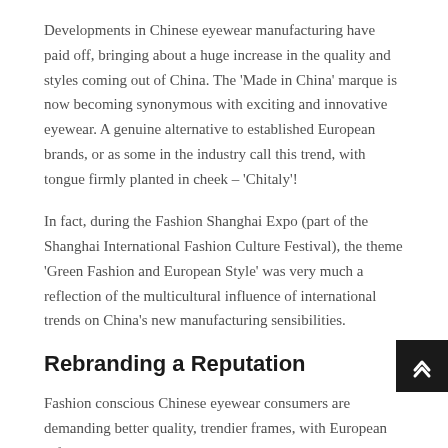Developments in Chinese eyewear manufacturing have paid off, bringing about a huge increase in the quality and styles coming out of China. The 'Made in China' marque is now becoming synonymous with exciting and innovative eyewear. A genuine alternative to established European brands, or as some in the industry call this trend, with tongue firmly planted in cheek – 'Chitaly'!
In fact, during the Fashion Shanghai Expo (part of the Shanghai International Fashion Culture Festival), the theme 'Green Fashion and European Style' was very much a reflection of the multicultural influence of international trends on China's new manufacturing sensibilities.
Rebranding a Reputation
Fashion conscious Chinese eyewear consumers are demanding better quality, trendier frames, with European influenced style. While the traditional Italian, French and